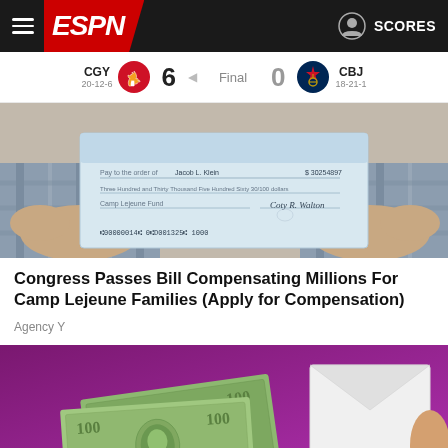ESPN — SCORES
CGY 20-12-6   6   Final   0   CBJ 18-21-1
[Figure (photo): Person holding a check]
Congress Passes Bill Compensating Millions For Camp Lejeune Families (Apply for Compensation)
Agency Y
[Figure (photo): Money on purple background]